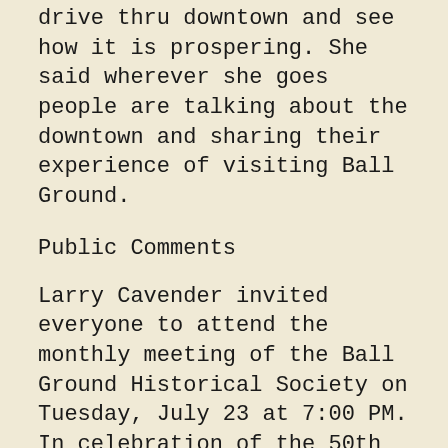drive thru downtown and see how it is prospering. She said wherever she goes people are talking about the downtown and sharing their experience of visiting Ball Ground.
Public Comments
Larry Cavender invited everyone to attend the monthly meeting of the Ball Ground Historical Society on Tuesday, July 23 at 7:00 PM. In celebration of the 50th Anniversary of the Apollo 11 moon landing Ball Ground resident Billy Childers will be speaking about his years working for NASA.
Glenn Braselton, resident of the Sage Hill Subdivision asked when the sidewalk damaged by a recent water leak repair would be repaired. Mr. Braselton also thanked Mayor and Council Member for the assistance provided to remedy a